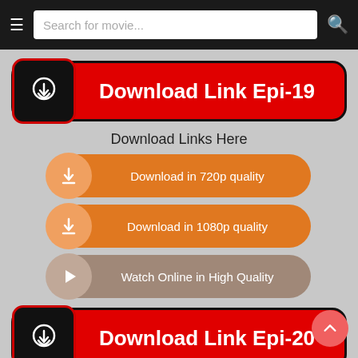Search for movie...
[Figure (infographic): Download Link Epi-19 button with cloud download icon on black square and red background]
Download Links Here
Download in 720p quality
Download in 1080p quality
Watch Online in High Quality
[Figure (infographic): Download Link Epi-20 button with cloud download icon on black square and red background]
Download Links Here